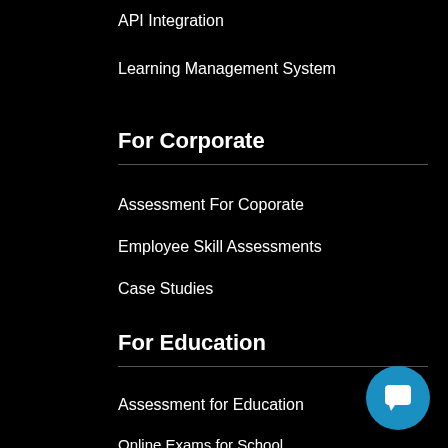API Integration
Learning Management System
For Corporate
Assessment For Coporate
Employee Skill Assessments
Case Studies
For Education
Assessment for Education
Online Exams for School
Onscreen Marking System
Question paper Generation